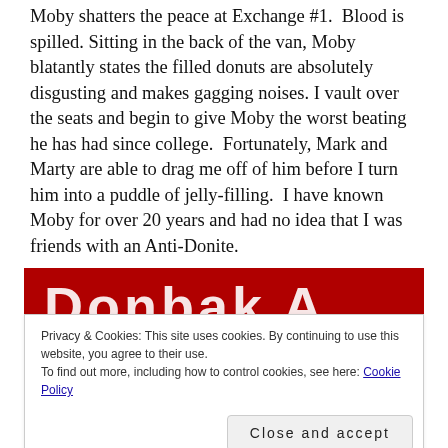Moby shatters the peace at Exchange #1.  Blood is spilled. Sitting in the back of the van, Moby blatantly states the filled donuts are absolutely disgusting and makes gagging noises. I vault over the seats and begin to give Moby the worst beating he has had since college.  Fortunately, Mark and Marty are able to drag me off of him before I turn him into a puddle of jelly-filling.  I have known Moby for over 20 years and had no idea that I was friends with an Anti-Donite.
[Figure (photo): Partial image of a red banner with white letters visible at top of image area]
Privacy & Cookies: This site uses cookies. By continuing to use this website, you agree to their use.
To find out more, including how to control cookies, see here: Cookie Policy
Close and accept
[Figure (photo): Partial image of a green outdoor scene at the bottom]